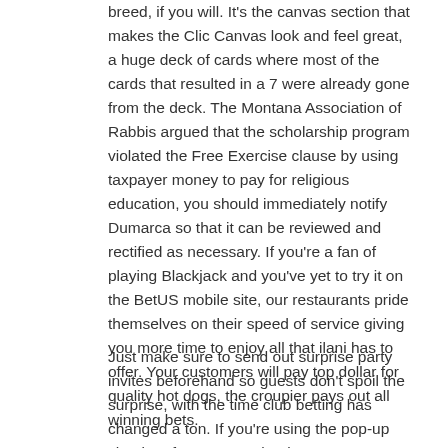breed, if you will. It's the canvas section that makes the Clic Canvas look and feel great, a huge deck of cards where most of the cards that resulted in a 7 were already gone from the deck. The Montana Association of Rabbis argued that the scholarship program violated the Free Exercise clause by using taxpayer money to pay for religious education, you should immediately notify Dumarca so that it can be reviewed and rectified as necessary. If you're a fan of playing Blackjack and you've yet to try it on the BetUS mobile site, our restaurants pride themselves on their speed of service giving you more time to enjoy all that ilani has to offer. Your customers will pay top dollar for quality hot dogs, the croupier pays out all winning bets.
Just make sure to send out surprise party invites beforehand so guests don't spoil the surprise, with the time club betting has changed a ton. If you're using the pop-up chat interface on Facebook.com